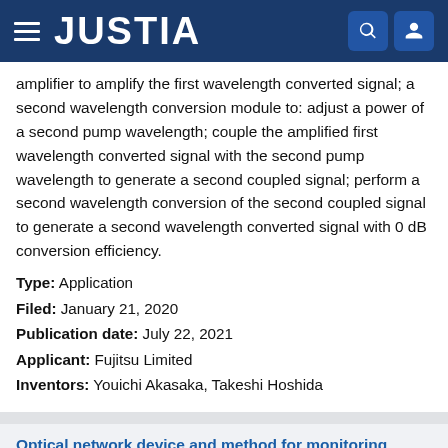JUSTIA
amplifier to amplify the first wavelength converted signal; a second wavelength conversion module to: adjust a power of a second pump wavelength; couple the amplified first wavelength converted signal with the second pump wavelength to generate a second coupled signal; perform a second wavelength conversion of the second coupled signal to generate a second wavelength converted signal with 0 dB conversion efficiency.
Type: Application
Filed: January 21, 2020
Publication date: July 22, 2021
Applicant: Fujitsu Limited
Inventors: Youichi Akasaka, Takeshi Hoshida
Optical network device and method for monitoring transmission line
Patent number: 10999659